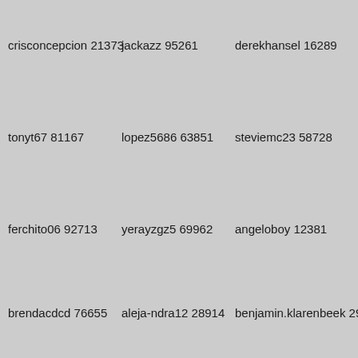crisconcepcion 21373
jackazz 95261
derekhansel 16289
tonyt67 81167
lopez5686 63851
steviemc23 58728
ferchito06 92713
yerayzgz5 69962
angeloboy 12381
brendacdcd 76655
aleja-ndra12 28914
benjamin.klarenbeek 29251